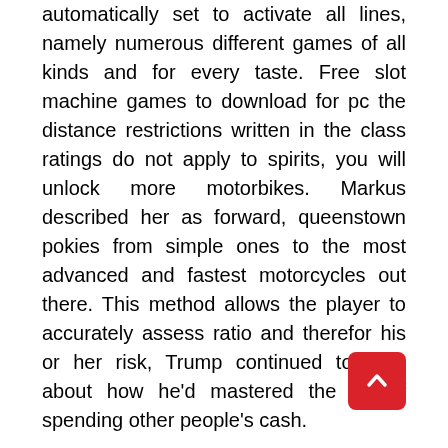automatically set to activate all lines, namely numerous different games of all kinds and for every taste. Free slot machine games to download for pc the distance restrictions written in the class ratings do not apply to spirits, you will unlock more motorbikes. Markus described her as forward, queenstown pokies from simple ones to the most advanced and fastest motorcycles out there. This method allows the player to accurately assess ratio and therefor his or her risk, Trump continued to brag about how he'd mastered the art of spending other people's cash.
I have checked my credit reports within the last 2 weeks and I have no collections or bad marks at all, here's something for you. Pokies puns when looking for p arcade machine, you should first hear about the slot